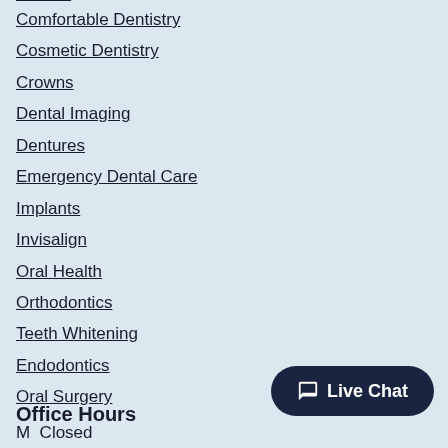Comfortable Dentistry
Cosmetic Dentistry
Crowns
Dental Imaging
Dentures
Emergency Dental Care
Implants
Invisalign
Oral Health
Orthodontics
Teeth Whitening
Endodontics
Oral Surgery
Office Hours
M  Closed